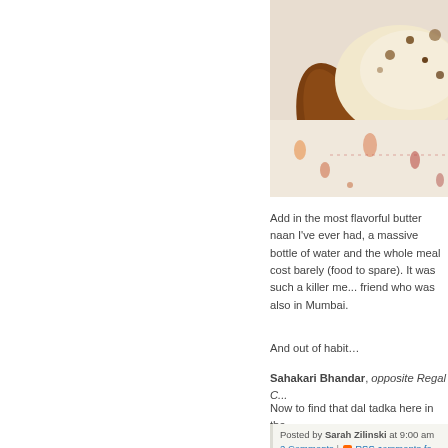[Figure (photo): Close-up photo of butter naan bread on a patterned tablecloth, with a wooden handle/spatula visible]
Add in the most flavorful butter naan I’ve ever had, a massive bottle of water and the whole meal cost barely (food to spare). It was such a killer me... friend who was also in Mumbai.
And out of habit…
Sahakari Bhandar, opposite Regal C...
Now to find that dal tadka here in the...
Posted by Sarah Zilinski at 9:00 am
2 Comments | RSS comments fe...
Tweet